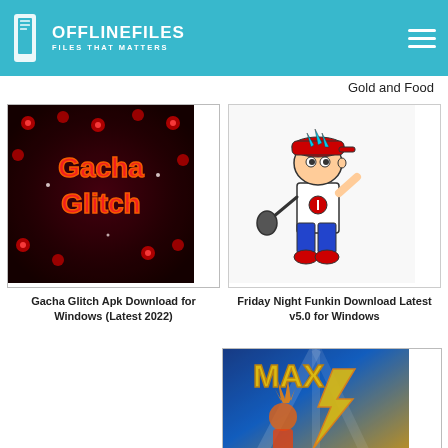OFFLINEFILES FILES THAT MATTERS
Gold and Food
[Figure (screenshot): Gacha Glitch game logo on dark background with red eyes pattern]
[Figure (screenshot): Friday Night Funkin character - cartoon boy with red cap holding microphone]
Gacha Glitch Apk Download for Windows (Latest 2022)
Friday Night Funkin Download Latest v5.0 for Windows
[Figure (screenshot): MAX game cover art with stylized superhero/action character with lightning effects]